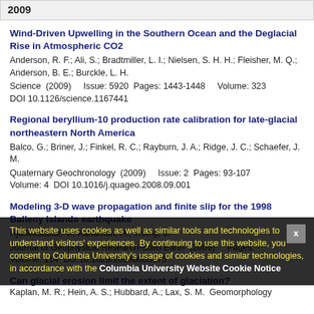2009
Wind-Driven Upwelling in the Southern Ocean and the Deglacial Rise in Atmospheric CO2
Anderson, R. F.; Ali, S.; Bradtmiller, L. I.; Nielsen, S. H. H.; Fleisher, M. Q.; Anderson, B. E.; Burckle, L. H.
Science  (2009)    Issue: 5920  Pages: 1443-1448    Volume: 323
DOI 10.1126/science.1167441
Regional beryllium-10 production rate calibration for late-glacial northeastern North America
Balco, G.; Briner, J.; Finkel, R. C.; Rayburn, J. A.; Ridge, J. C.; Schaefer, J. M.
Quaternary Geochronology  (2009)    Issue: 2  Pages: 93-107  Volume: 4  DOI 10.1016/j.quageo.2008.09.001
Modeling 3-D wave propagation and finite slip for the 1998 Balleny Islands earthquake
Hjorleifsdottir, V.; Kanamori, H.; Tromp, J.
Journal of Geophysical Research-Solid Earth  (2009)    Pages: -  Volume: 114  Doi:10.1029/2008b005875
Can glacial erosion limit the extent of glaciation?
Kaplan, M. R.; Hein, A. S.; Hubbard, A.; Lax, S. M.  Geomorphology